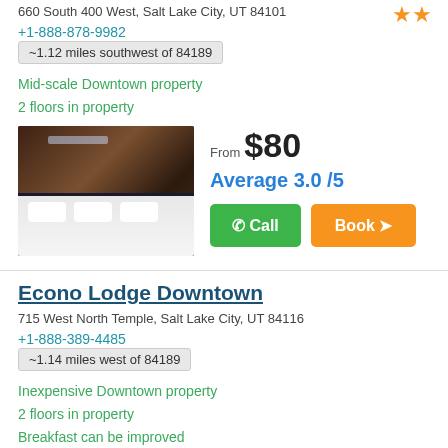660 South 400 West, Salt Lake City, UT 84101
+1-888-878-9982
~1.12 miles southwest of 84189
Mid-scale Downtown property
2 floors in property
From $80
Average 3.0 /5
Call
Book
Econo Lodge Downtown
715 West North Temple, Salt Lake City, UT 84116
+1-888-389-4485
~1.14 miles west of 84189
Inexpensive Downtown property
2 floors in property
Breakfast can be improved
Near to public transport, according to 100%
From $35